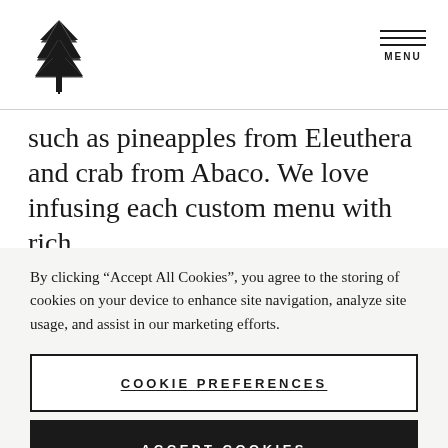Logo and MENU navigation header
such as pineapples from Eleuthera and crab from Abaco. We love infusing each custom menu with rich
By clicking “Accept All Cookies”, you agree to the storing of cookies on your device to enhance site navigation, analyze site usage, and assist in our marketing efforts.
COOKIE PREFERENCES
ACCEPT COOKIES